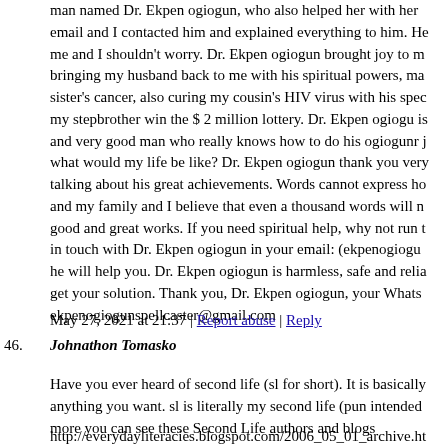man named Dr. Ekpen ogiogun, who also helped her with her email and I contacted him and explained everything to him. He me and I shouldn't worry. Dr. Ekpen ogiogun brought joy to m bringing my husband back to me with his spiritual powers, ma sister's cancer, also curing my cousin's HIV virus with his spe my stepbrother win the $ 2 million lottery. Dr. Ekpen ogiogu i and very good man who really knows how to do his ogiogunr j what would my life be like? Dr. Ekpen ogiogun thank you ver talking about his great achievements. Words cannot express ho and my family and I believe that even a thousand words will n good and great works. If you need spiritual help, why not run t in touch with Dr. Ekpen ogiogun in your email: (ekpenogiogu he will help you. Dr. Ekpen ogiogun is harmless, safe and relia get your solution. Thank you, Dr. Ekpen ogiogun, your Whats ekpenogiogunspellcaster@gmail.com
May 27, 2021 at 21:37 | Report abuse | Reply
46. Johnathon Tomasko
Have you ever heard of second life (sl for short). It is basically anything you want. sl is literally my second life (pun intended more you can see these Second Life authors and blogs
http://everydayliteracies.blogspot.com/2006_05_01_archive.ht
May 28, 2021 at 05:12 | Report abuse | Reply